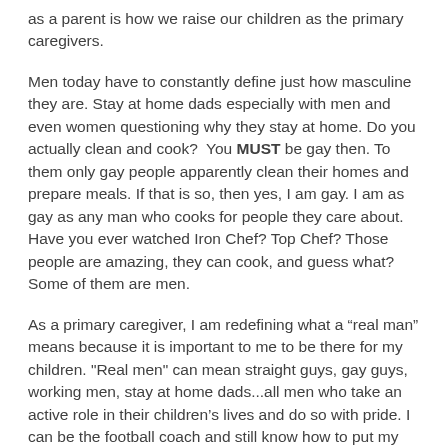as a parent is how we raise our children as the primary caregivers.
Men today have to constantly define just how masculine they are. Stay at home dads especially with men and even women questioning why they stay at home. Do you actually clean and cook?  You MUST be gay then. To them only gay people apparently clean their homes and prepare meals. If that is so, then yes, I am gay. I am as gay as any man who cooks for people they care about. Have you ever watched Iron Chef? Top Chef? Those people are amazing, they can cook, and guess what? Some of them are men.
As a primary caregiver, I am redefining what a “real man” means because it is important to me to be there for my children. "Real men" can mean straight guys, gay guys, working men, stay at home dads...all men who take an active role in their children’s lives and do so with pride. I can be the football coach and still know how to put my daughter’s hair into pigtails. I can coordinate an outfit for my son and show him how to properly shoot a basketball. I can demonstrate to my daughter what a pirouette is while teaching my son to tie